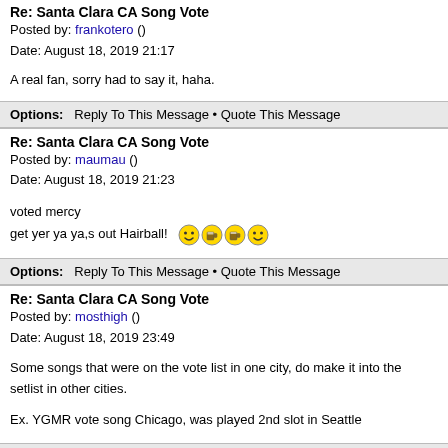Re: Santa Clara CA Song Vote
Posted by: frankotero ()
Date: August 18, 2019 21:17
A real fan, sorry had to say it, haha.
Options:   Reply To This Message • Quote This Message
Re: Santa Clara CA Song Vote
Posted by: maumau ()
Date: August 18, 2019 21:23
voted mercy
get yer ya ya,s out Hairball!
Options:   Reply To This Message • Quote This Message
Re: Santa Clara CA Song Vote
Posted by: mosthigh ()
Date: August 18, 2019 23:49
Some songs that were on the vote list in one city, do make it into the setlist in other cities.

Ex. YGMR vote song Chicago, was played 2nd slot in Seattle
Options:   Reply To This Message • Quote This Message
Re: Santa Clara CA Song Vote